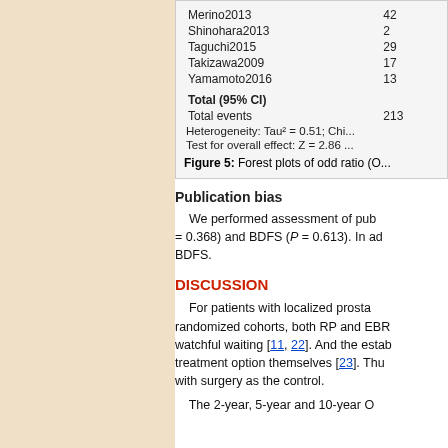| Study | Events |
| --- | --- |
| Merino2013 | 42 |
| Shinohara2013 | 2 |
| Taguchi2015 | 29 |
| Takizawa2009 | 17 |
| Yamamoto2016 | 13 |
| Total (95% CI) |  |
| Total events | 213 |
Heterogeneity: Tau² = 0.51; Chi...
Test for overall effect: Z = 2.86 ...
Figure 5: Forest plots of odd ratio (O...
Publication bias
We performed assessment of pub= 0.368) and BDFS (P = 0.613). In ad BDFS.
DISCUSSION
For patients with localized prosta randomized cohorts, both RP and EBR watchful waiting [11, 22]. And the estab treatment option themselves [23]. Thu with surgery as the control.
The 2-year, 5-year and 10-year O...